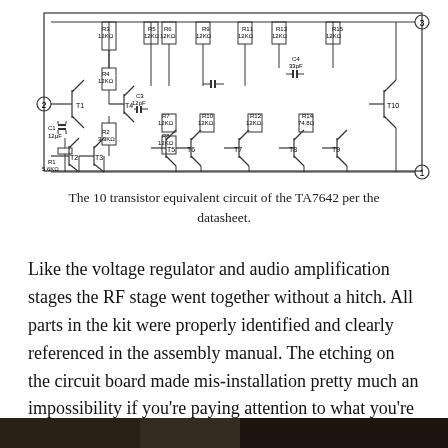[Figure (circuit-diagram): 10 transistor equivalent circuit of the TA7642 IC, showing transistors T1-T10, resistors R1-R15, capacitors C1-C4, with labeled component values (12KΩ, 3.3KΩ, 5.6KΩ, 33pF, 12pF, etc.) and terminals numbered 1, 2, 3.]
The 10 transistor equivalent circuit of the TA7642 per the datasheet.
Like the voltage regulator and audio amplification stages the RF stage went together without a hitch. All parts in the kit were properly identified and clearly referenced in the assembly manual. The etching on the circuit board made mis-installation pretty much an impossibility if you're paying attention to what you're doing.
[Figure (photo): Partial photo visible at bottom of page, dark background, appears to show electronic assembly or radio kit.]